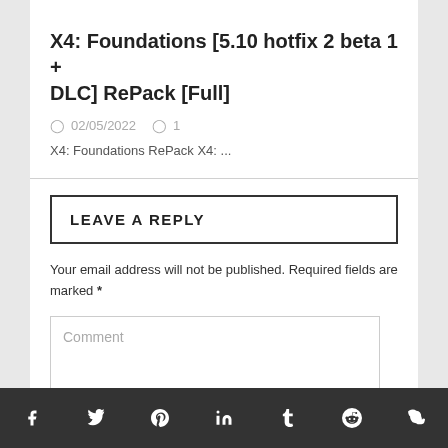X4: Foundations [5.10 hotfix 2 beta 1 + DLC] RePack [Full]
02/05/2022   1
X4: Foundations RePack X4: ...
LEAVE A REPLY
Your email address will not be published. Required fields are marked *
Comment